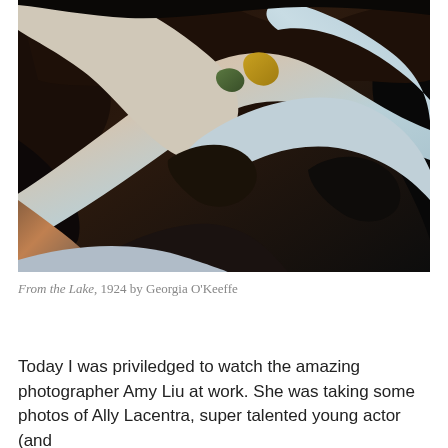[Figure (photo): Close-up abstract photo of swirling agave plant leaves with flowing curves in dark brown, black, pale gray-blue, and hints of amber/green tones — From the Lake, 1924 by Georgia O'Keeffe]
From the Lake, 1924 by Georgia O'Keeffe
Today I was priviledged to watch the amazing photographer Amy Liu at work. She was taking some photos of Ally Lacentra, super talented young actor (and